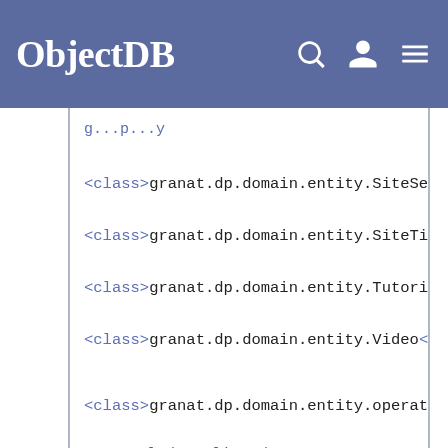ObjectDB
<class>granat.dp.domain.entity.SiteSettings</class>
<class>granat.dp.domain.entity.SiteTicket</class>
<class>granat.dp.domain.entity.Tutorial</class>
<class>granat.dp.domain.entity.Video</class>
<class>granat.dp.domain.entity.operations.ImageLik
<exclude-unlisted-classes>true</exclude-unlisted-classes>
<properties>
<property